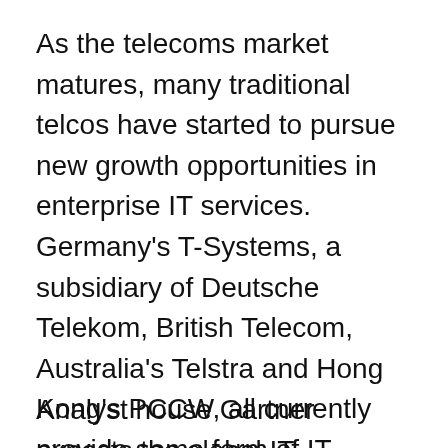As the telecoms market matures, many traditional telcos have started to pursue new growth opportunities in enterprise IT services. Germany's T-Systems, a subsidiary of Deutsche Telekom, British Telecom, Australia's Telstra and Hong Kong's PCCW, all currently provide some form of IT management services.
Analyst house Gartner expects the global IT